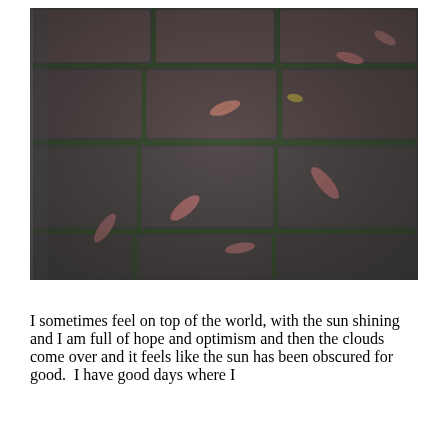[Figure (photo): Close-up photograph of dark granite or stone cobblestone pavement with moss growing in the joints between stones. Several dry fallen leaves (pinkish-brown) are scattered across the stones. The image is taken at a slight angle showing perspective depth.]
I sometimes feel on top of the world, with the sun shining and I am full of hope and optimism and then the clouds come over and it feels like the sun has been obscured for good.  I have good days where I